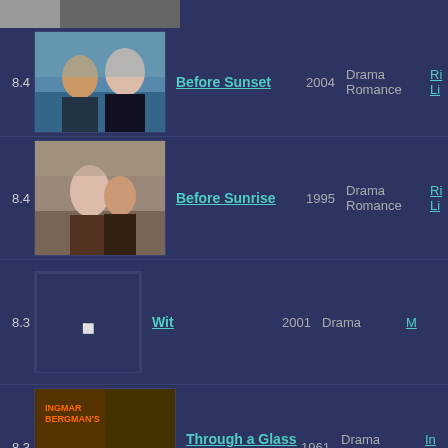[Figure (photo): Top strip photo - partial view of two people]
8.4
[Figure (photo): Before Sunset movie still - man and woman by waterfront]
Before Sunset
2004 Drama Romance
Ri Li
8.4
[Figure (photo): Before Sunrise movie still - couple dancing outdoors]
Before Sunrise
1995 Drama Romance
Ri Li
8.3
[Figure (photo): Wit - small placeholder image]
Wit
2001 Drama
M
8.3
[Figure (photo): Through a Glass Darkly - Ingmar Bergman's movie poster, Academy Award Winner]
Through a Glass Darkly
1961 Drama Sweden
In Be